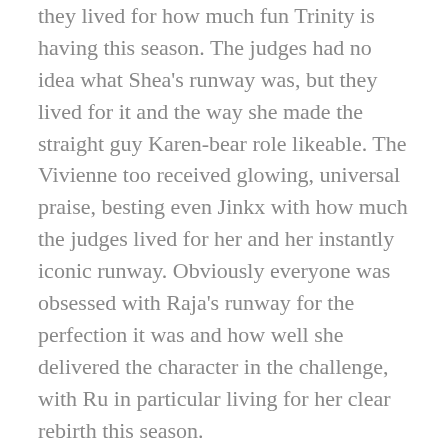they lived for how much fun Trinity is having this season. The judges had no idea what Shea's runway was, but they lived for it and the way she made the straight guy Karen-bear role likeable. The Vivienne too received glowing, universal praise, besting even Jinkx with how much the judges lived for her and her instantly iconic runway. Obviously everyone was obsessed with Raja's runway for the perfection it was and how well she delivered the character in the challenge, with Ru in particular living for her clear rebirth this season.
As the dolls untucked they quickly praised Yvie for looking so stunning on the runway and being so sexy in the challenge. Essentially, they were all horny for Yvie. They were also in agreement about The Vivienne in the top two this week, but weren't sure who would be joining her in the top two this week.